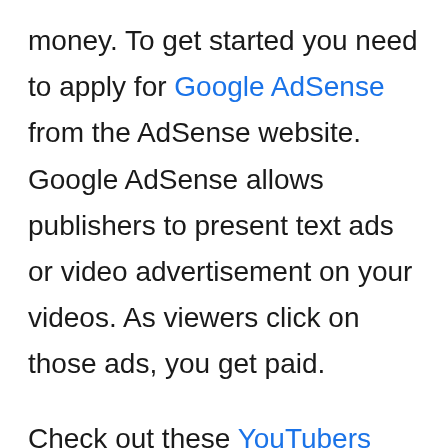money. To get started you need to apply for Google AdSense from the AdSense website. Google AdSense allows publishers to present text ads or video advertisement on your videos. As viewers click on those ads, you get paid.

Check out these YouTubers making